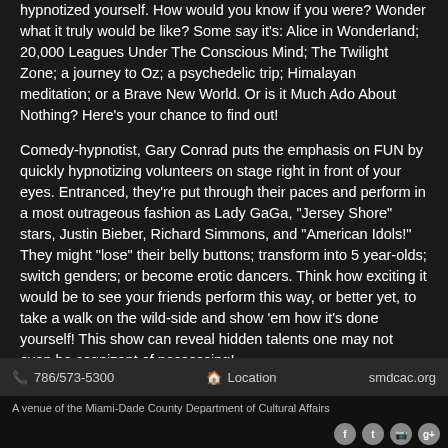hypnotized yourself. How would you know if you were? Wonder what it truly would be like? Some say it's: Alice in Wonderland; 20,000 Leagues Under The Conscious Mind; The Twilight Zone; a journey to Oz; a psychedelic trip; Himalayan meditation; or a Brave New World. Or is it Much Ado About Nothing? Here's your chance to find out!
Comedy-hypnotist, Gary Conrad puts the emphasis on FUN by quickly hypnotizing volunteers on stage right in front of your eyes. Entranced, they're put through their paces and perform in a most outrageous fashion as Lady GaGa, "Jersey Shore" stars, Justin Bieber, Richard Simmons, and "American Idols!" They might "lose" their belly buttons; transform into 5 year-olds; switch genders; or become erotic dancers. Think how exciting it would be to see your friends perform this way, or better yet, to take a walk on the wild-side and show 'em how it's done yourself! This show can reveal hidden talents one may not even be cognizant of possessing!
You may have seen Gary on THE VIEW with Joy Behar, heard him on Charleston TV and radio or on air with Benny...
📞 786/573-5300   🏠 Location   smdcac.org
A venue of the Miami-Dade County Department of Cultural Affairs